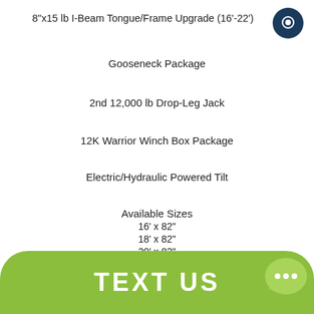8"x15 lb I-Beam Tongue/Frame Upgrade (16'-22')
Gooseneck Package
2nd 12,000 lb Drop-Leg Jack
12K Warrior Winch Box Package
Electric/Hydraulic Powered Tilt
Available Sizes
16' x 82"
18' x 82"
20' x 82"
22' x 82"
24' x 82"
26' x 82"
TEXT US